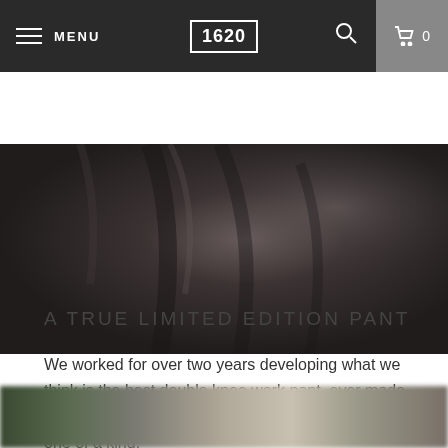MENU | 1620 | Search | Cart 0
[Figure (photo): Close-up product photo of dark gray/charcoal double knee work pants on a person, industrial background]
A TRUE LIMITED EDITION PANT
We worked for over two years developing what we think is the best double knee work pant, ever made. This is a true limited edition product, and each piece is one of a kind.
[Figure (photo): Blurred bottom strip photo, appears to show outdoor/nature scene]